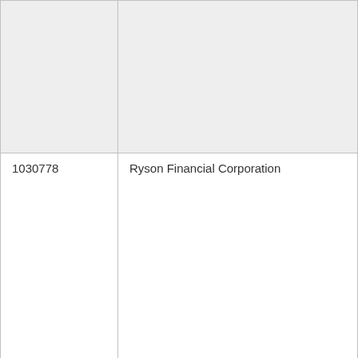|  |  |
| 1030778 | Ryson Financial Corporation |
| 1009928 | Ani Cdsa Limited Liability Company |